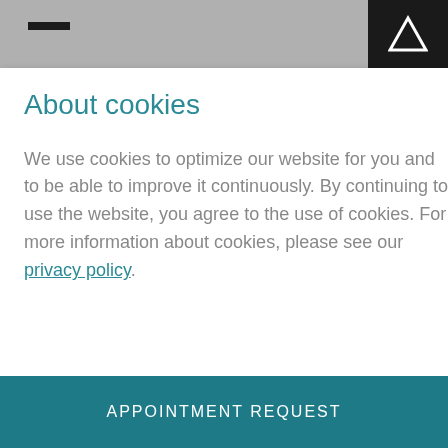About cookies
We use cookies to optimize our website for you and to be able to improve it continuously. By continuing to use the website, you agree to the use of cookies. For more information about cookies, please see our privacy policy.
APPOINTMENT REQUEST